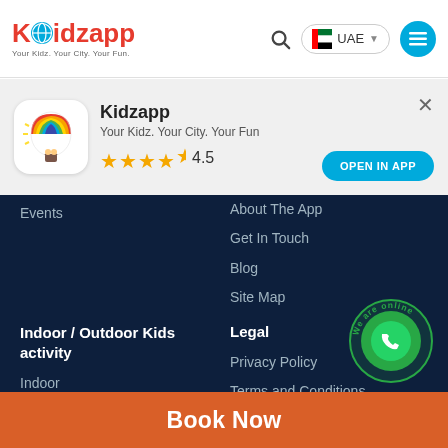Kidzapp - Your Kidz. Your City. Your Fun. | UAE
[Figure (screenshot): App install banner for Kidzapp showing app icon (hot air balloon), name, tagline, 4.5 star rating, close button, and OPEN IN APP button]
Events
About The App
Get In Touch
Blog
Site Map
Indoor / Outdoor Kids activity
Indoor
Legal
Privacy Policy
Terms and Conditions
[Figure (illustration): Green circular WhatsApp button with 'We are online' text around it]
Book Now